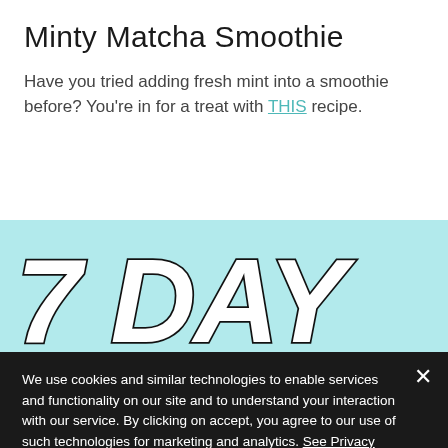Minty Matcha Smoothie
Have you tried adding fresh mint into a smoothie before? You're in for a treat with THIS recipe.
[Figure (illustration): Light blue banner graphic with large bold italic outlined text reading '7 DAY' on top and 'DETOX' partially visible below]
We use cookies and similar technologies to enable services and functionality on our site and to understand your interaction with our service. By clicking on accept, you agree to our use of such technologies for marketing and analytics. See Privacy Policy
Decline All
Accept
Cookie Settings